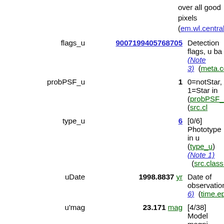over all good pixels (em.wl.central;stat.m...
| Name | Value | Description |
| --- | --- | --- |
| flags_u | 9007199405768705 | Detection flags, u band (Note 3) (meta.cod... |
| probPSF_u | 1 | 0=notStar, 1=Star in u band (probPSF_u) (src.cl... |
| type_u | 6 | [0/6] Phototype in u band (type_u) (Note 1) (src.class.starGalax... |
| uDate | 1998.8837 yr | Date of observation in u band (Note 6) (time.epoch) |
| u'mag | 23.171 mag | [4/38] Model magnitude in u filter (= umag) (Note 5) (phot.mag;em.opt.U... |
| e_u'mag | 0.480 mag | Mean error on u'mag (stat.error;phot.mag... |
| psfMag_u | 23.108 mag | [5/34] PSF magnitude in u band (psfMag_u) (phot.m... |
| psfMagErr_u | 0.385 mag | Mean error on upmag (psfMagErr_u) (stat.error;phot.mag... |
| petroMag_u | 23.418 mag | [3/43] Petrosian magnitude in u band (petroMag_u)... |